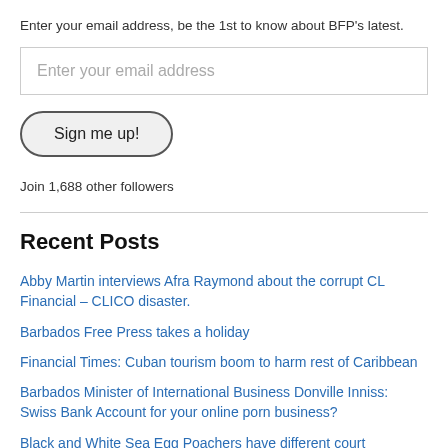Enter your email address, be the 1st to know about BFP's latest.
Enter your email address
Sign me up!
Join 1,688 other followers
Recent Posts
Abby Martin interviews Afra Raymond about the corrupt CL Financial – CLICO disaster.
Barbados Free Press takes a holiday
Financial Times: Cuban tourism boom to harm rest of Caribbean
Barbados Minister of International Business Donville Inniss: Swiss Bank Account for your online porn business?
Black and White Sea Egg Poachers have different court outcomes in Barbados
102 year old Harlem Cotton Club dancer sees herself on film for the first